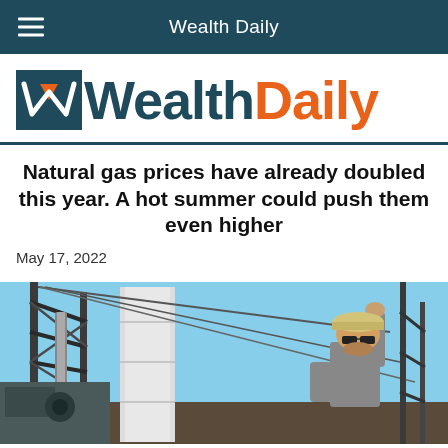Wealth Daily
[Figure (logo): Wealth Daily logo with triangular W icon in teal/orange and bold text 'WealthDaily' in teal and orange]
Natural gas prices have already doubled this year. A hot summer could push them even higher
May 17, 2022
[Figure (photo): A worker in a hard hat and sunglasses on a natural gas drilling rig against a blue sky background]